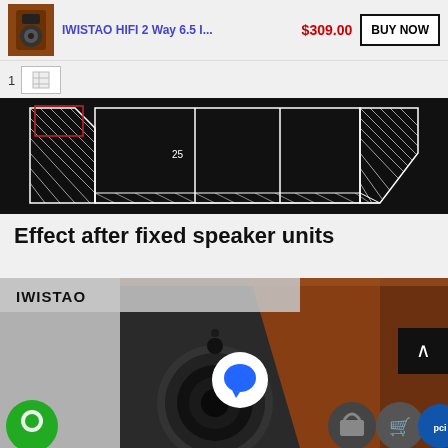IWISTAO HIFI 2 Way 6.5 I... $309.00 BUY NOW
1
[Figure (engineering-diagram): Technical cross-section engineering diagram of a speaker cabinet enclosure showing internal construction with hatched walls and a center dimension marking of 25]
Effect after fixed speaker units
[Figure (photo): Photo of IWISTAO branded wooden hi-fi speaker cabinet with a woofer driver visible, shown from an angled perspective. Overlaid UI elements include a chat bubble icon, a green circle icon bottom-left, and e-commerce icons bottom-right.]